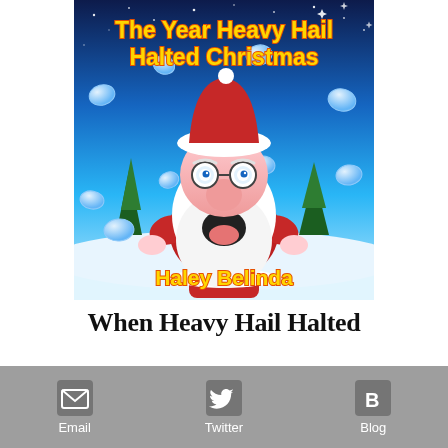[Figure (illustration): Book cover illustration: 'The Year Heavy Hail Halted Christmas' by Haley Belinda. Shows a cartoon Santa Claus with mouth open in shock, surrounded by falling hailstones, against a blue winter night sky with pine trees and snow.]
When Heavy Hail Halted
[Figure (infographic): Share bar with Email, Twitter, and Blog sharing buttons on a grey background.]